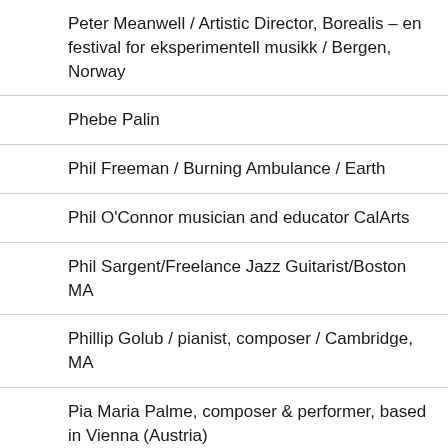Peter Meanwell / Artistic Director, Borealis – en festival for eksperimentell musikk / Bergen, Norway
Phebe Palin
Phil Freeman / Burning Ambulance / Earth
Phil O'Connor musician and educator CalArts
Phil Sargent/Freelance Jazz Guitarist/Boston MA
Phillip Golub / pianist, composer / Cambridge, MA
Pia Maria Palme, composer & performer, based in Vienna (Austria)
Prawit Siriwat / Guitarist, teacher, composer / Brooklyn, NY
Priscilla Frank
Priscilla Page/Theater Professor and